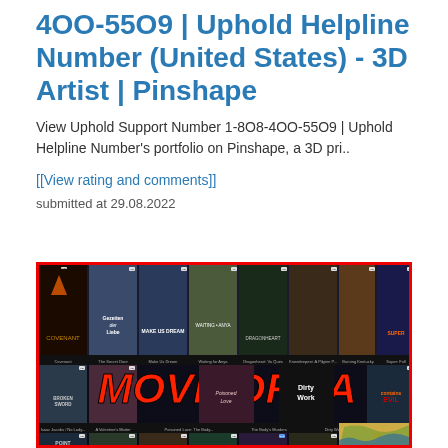4OO-55O9 | Uphold Helpline Number (United States) - 3D Artist | Pinshape
View Uphold Support Number 1-8O8-4OO-55O9 | Uphold Helpline Number's portfolio on Pinshape, a 3D pri..
[[View rating and comments]]
submitted at 29.08.2022
[Figure (screenshot): Screenshot of MovieOrca website showing a grid of movie posters with the MOVIEORCA logo overlaid in large red italic text on a dark background. Movie titles visible include Covenant, Gezeiten der Liebe, Make Us Dream, Waiting for Anya, Dragonheart, Braveheart, Burning Kentucky, Super, Broken Sword, Poisoned Love, Dirty Work, and others. Red border around the image.]